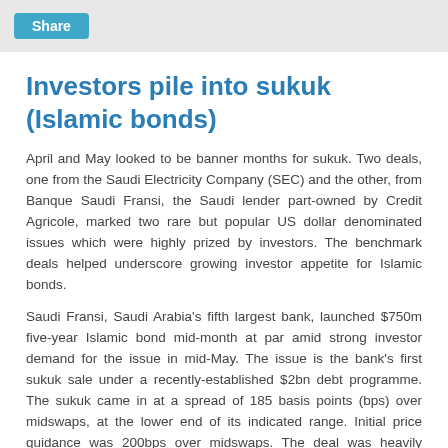Share
Investors pile into sukuk (Islamic bonds)
April and May looked to be banner months for sukuk. Two deals, one from the Saudi Electricity Company (SEC) and the other, from Banque Saudi Fransi, the Saudi lender part-owned by Credit Agricole, marked two rare but popular US dollar denominated issues which were highly prized by investors. The benchmark deals helped underscore growing investor appetite for Islamic bonds.
Saudi Fransi, Saudi Arabia's fifth largest bank, launched $750m five-year Islamic bond mid-month at par amid strong investor demand for the issue in mid-May. The issue is the bank's first sukuk sale under a recently-established $2bn debt programme. The sukuk came in at a spread of 185 basis points (bps) over midswaps, at the lower end of its indicated range. Initial price guidance was 200bps over midswaps. The deal was heavily oversubscribed, attracting investor orders worth $4bn, underscoring growing investor appetite for sukuk issuance. The sukuk carries a profit rate of 2.847%. Citi, Deutsche Bank and Credit Agricole are...